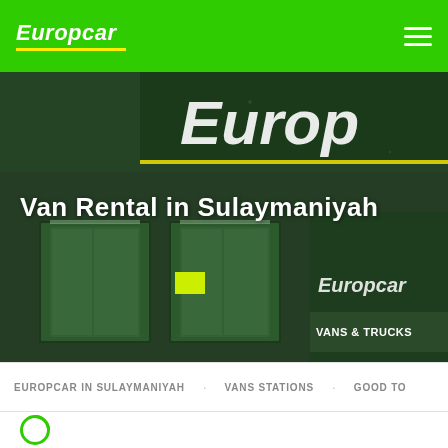Europcar
[Figure (photo): Europcar Vans & Trucks storefront with dark green facade, glass doors, and yellow signage reading 'VANS & TRUCKS'. Large Europcar branding visible on the building.]
Van Rental in Sulaymaniyah
EUROPCAR IN SULAYMANIYAH   VANS STATIONS   GOOD TO...